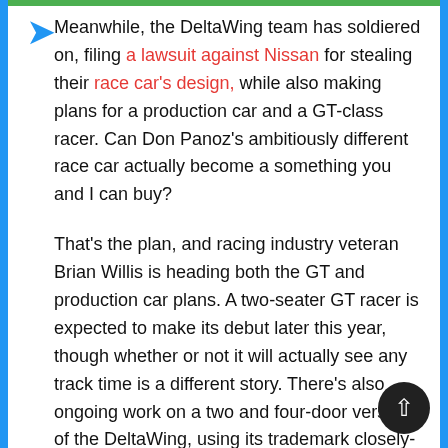Meanwhile, the DeltaWing team has soldiered on, filing a lawsuit against Nissan for stealing their race car's design, while also making plans for a production car and a GT-class racer. Can Don Panoz's ambitiously different race car actually become a something you and I can buy?
That's the plan, and racing industry veteran Brian Willis is heading both the GT and production car plans. A two-seater GT racer is expected to make its debut later this year, though whether or not it will actually see any track time is a different story. There's also ongoing work on a two and four-door version of the DeltaWing, using its trademark closely-spaced front wheels and a prototype 138 horsepower 1.4 liter four-cylinder engine that could deliver up to 70 MPG. There's also talk of an electric